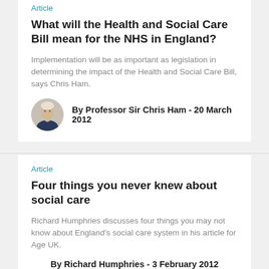Article
What will the Health and Social Care Bill mean for the NHS in England?
Implementation will be as important as legislation in determining the impact of the Health and Social Care Bill, says Chris Ham.
By Professor Sir Chris Ham - 20 March 2012
Article
Four things you never knew about social care
Richard Humphries discusses four things you may not know about England's social care system in his article for Age UK.
By Richard Humphries - 3 February 2012